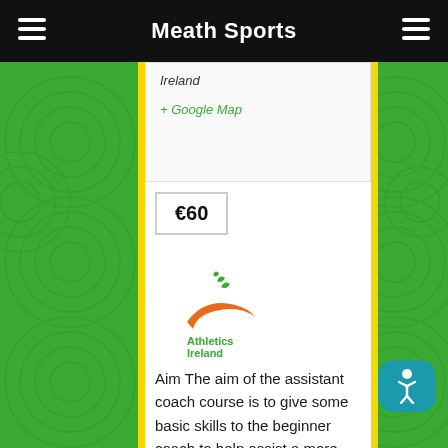Meath Sports
Ireland
+ Google Map
€60
[Figure (logo): Athletics Ireland logo with stylized running figure in orange and green text]
Aim The aim of the assistant coach course is to give some basic skills to the beginner coach to help assist a more senior coach in the delivery of